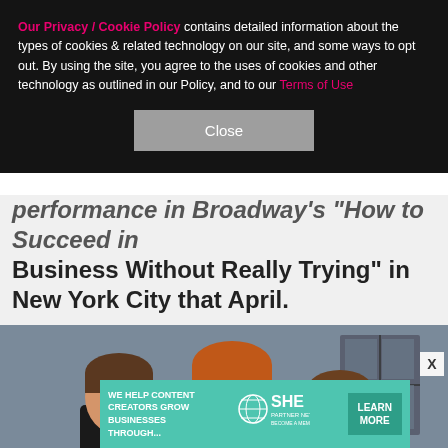Our Privacy / Cookie Policy contains detailed information about the types of cookies & related technology on our site, and some ways to opt out. By using the site, you agree to the uses of cookies and other technology as outlined in our Policy, and to our Terms of Use
Close
performance in Broadway's "How to Succeed in Business Without Really Trying" in New York City that April.
[Figure (photo): Three young actors (Daniel Radcliffe, Rupert Grint, Emma Watson) posing together in front of a stone/castle backdrop.]
X
[Figure (infographic): Advertisement banner for SHE Media Partner Network: 'WE HELP CONTENT CREATORS GROW BUSINESSES THROUGH...' with SHE logo and 'LEARN MORE / BECOME A MEMBER' button.]